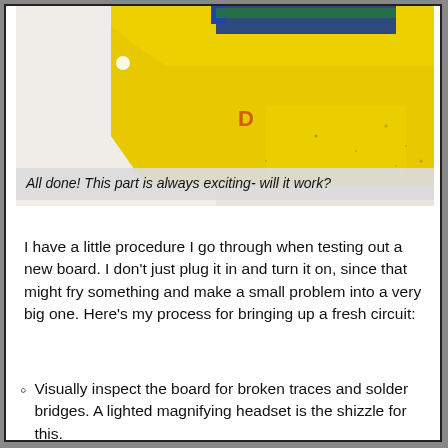[Figure (photo): Close-up photograph of a yellow PCB circuit board with electronic components visible at the top, showing soldering work on the board surface against a white background with scattered dark specks.]
All done! This part is always exciting- will it work?
I have a little procedure I go through when testing out a new board. I don't just plug it in and turn it on, since that might fry something and make a small problem into a very big one. Here's my process for bringing up a fresh circuit:
Visually inspect the board for broken traces and solder bridges. A lighted magnifying headset is the shizzle for this.